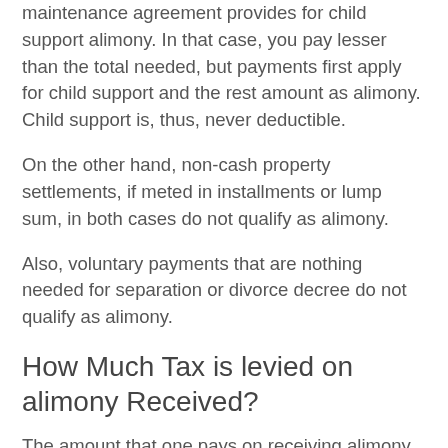maintenance agreement provides for child support alimony. In that case, you pay lesser than the total needed, but payments first apply for child support and the rest amount as alimony. Child support is, thus, never deductible.
On the other hand, non-cash property settlements, if meted in installments or lump sum, in both cases do not qualify as alimony.
Also, voluntary payments that are nothing needed for separation or divorce decree do not qualify as alimony.
How Much Tax is levied on alimony Received?
The amount that one pays on receiving alimony